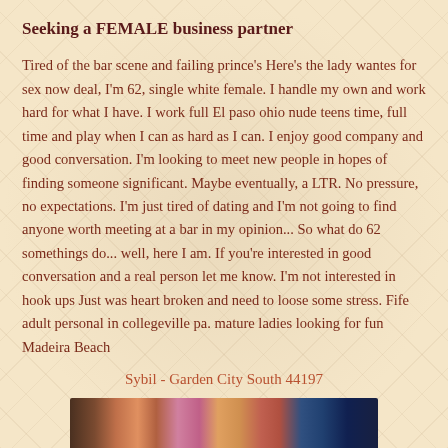Seeking a FEMALE business partner
Tired of the bar scene and failing prince's Here's the lady wantes for sex now deal, I'm 62, single white female. I handle my own and work hard for what I have. I work full El paso ohio nude teens time, full time and play when I can as hard as I can. I enjoy good company and good conversation. I'm looking to meet new people in hopes of finding someone significant. Maybe eventually, a LTR. No pressure, no expectations. I'm just tired of dating and I'm not going to find anyone worth meeting at a bar in my opinion... So what do 62 somethings do... well, here I am. If you're interested in good conversation and a real person let me know. I'm not interested in hook ups Just was heart broken and need to loose some stress. Fife adult personal in collegeville pa. mature ladies looking for fun Madeira Beach
Sybil - Garden City South 44197
[Figure (photo): Partial photo strip showing multiple women, cropped at bottom of page]